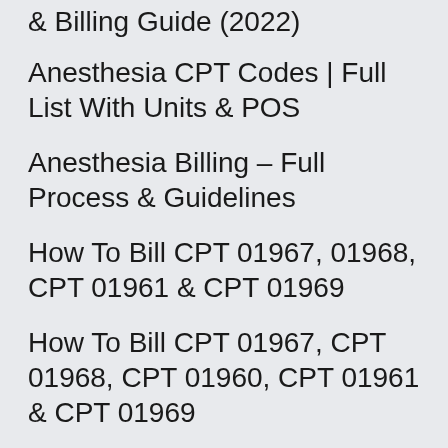& Billing Guide (2022)
Anesthesia CPT Codes | Full List With Units & POS
Anesthesia Billing – Full Process & Guidelines
How To Bill CPT 01967, 01968, CPT 01961 & CPT 01969
How To Bill CPT 01967, CPT 01968, CPT 01960, CPT 01961 & CPT 01969